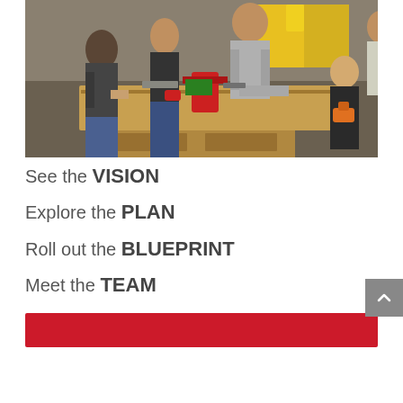[Figure (photo): Group of people including adults and a child working together at a wooden workbench with power tools in a workshop setting]
See the VISION
Explore the PLAN
Roll out the BLUEPRINT
Meet the TEAM